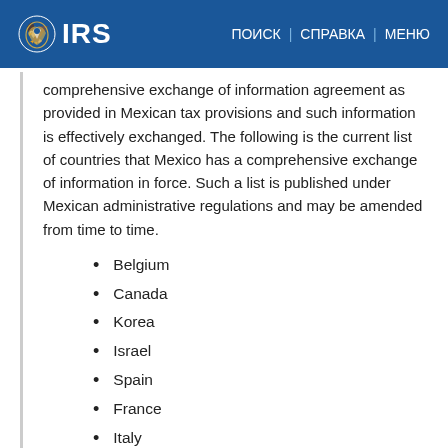IRS | ПОИСК | СПРАВКА | МЕНЮ
comprehensive exchange of information agreement as provided in Mexican tax provisions and such information is effectively exchanged. The following is the current list of countries that Mexico has a comprehensive exchange of information in force. Such a list is published under Mexican administrative regulations and may be amended from time to time.
Belgium
Canada
Korea
Israel
Spain
France
Italy
Norway
Netherlands